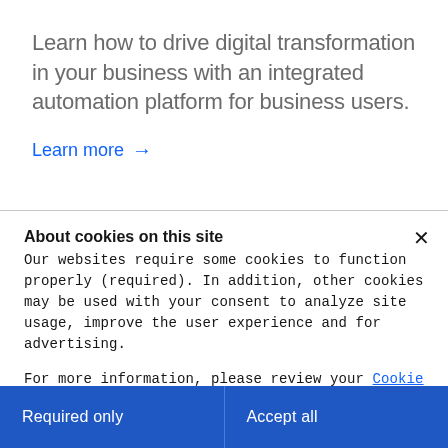Learn how to drive digital transformation in your business with an integrated automation platform for business users.
Learn more →
About cookies on this site
Our websites require some cookies to function properly (required). In addition, other cookies may be used with your consent to analyze site usage, improve the user experience and for advertising.

For more information, please review your Cookie preferences options and IBM's privacy statement.
Required only
Accept all